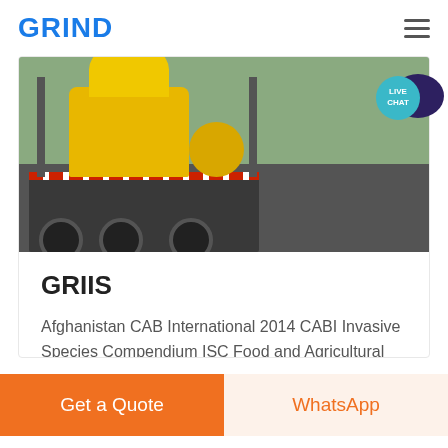GRIND
[Figure (photo): Yellow industrial crusher/grinder machinery mounted on a flatbed truck, photographed outdoors with trees in the background.]
GRIIS
Afghanistan CAB International 2014 CABI Invasive Species Compendium ISC Food and Agricultural Organisation of the United Nations FAO 1999